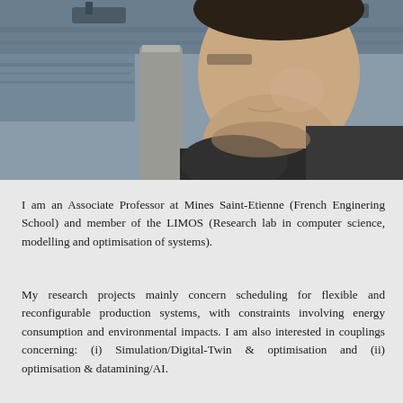[Figure (photo): Close-up profile photo of a man outdoors near a waterfront, wearing a dark grey coat, with a stone pillar and water/boats visible in the background.]
I am an Associate Professor at Mines Saint-Etienne (French Enginering School) and member of the LIMOS (Research lab in computer science, modelling and optimisation of systems).
My research projects mainly concern scheduling for flexible and reconfigurable production systems, with constraints involving energy consumption and environmental impacts. I am also interested in couplings concerning: (i) Simulation/Digital-Twin & optimisation and (ii) optimisation & datamining/AI.